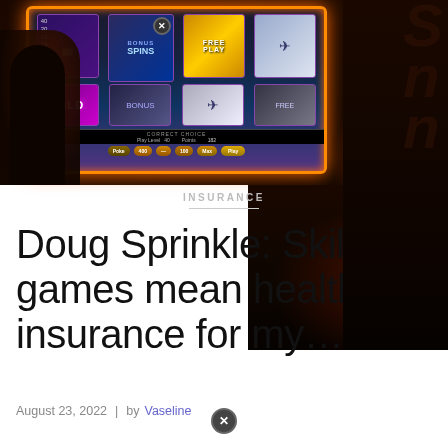[Figure (photo): Person silhouetted in front of a glowing slot machine screen showing 'WILD' and 'SPINS' symbols, with orange neon border glow, dark background with stylized letters on the right.]
INSURANCE
Doug Sprinkle: Skill games mean health insurance for my…
August 23, 2022  |  by Vaseline